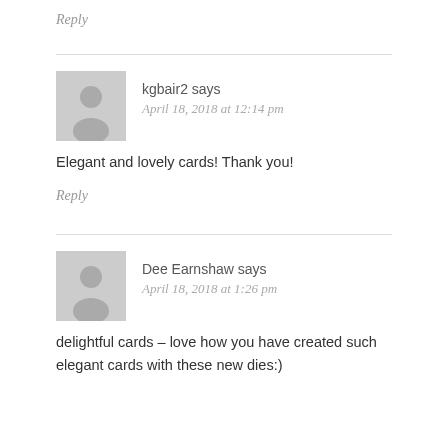Reply
kgbair2 says
April 18, 2018 at 12:14 pm
Elegant and lovely cards! Thank you!
Reply
Dee Earnshaw says
April 18, 2018 at 1:26 pm
delightful cards – love how you have created such elegant cards with these new dies:)